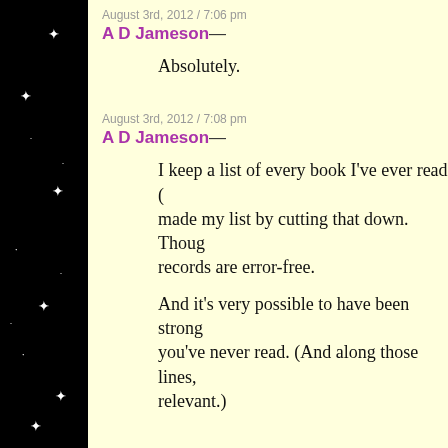August 3rd, 2012 / 7:06 pm
A D Jameson—
Absolutely.
August 3rd, 2012 / 7:08 pm
A D Jameson—
I keep a list of every book I've ever read (made my list by cutting that down. Though records are error-free.
And it's very possible to have been strong you've never read. (And along those lines, relevant.)
August 3rd, 2012 / 7:56 pm
mimi—
i thought i was a listanista but you… i how